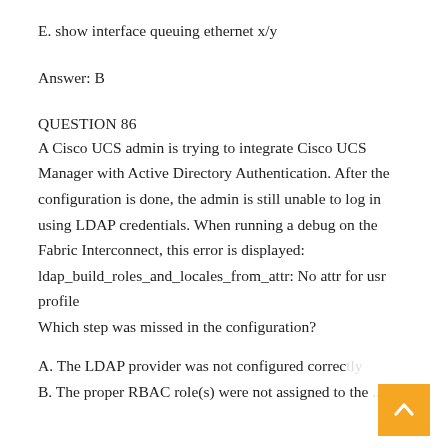E. show interface queuing ethernet x/y
Answer: B
QUESTION 86
A Cisco UCS admin is trying to integrate Cisco UCS Manager with Active Directory Authentication. After the configuration is done, the admin is still unable to log in using LDAP credentials. When running a debug on the Fabric Interconnect, this error is displayed: ldap_build_roles_and_locales_from_attr: No attr for usr profile
Which step was missed in the configuration?
A. The LDAP provider was not configured correc...
B. The proper RBAC role(s) were not assigned to the...